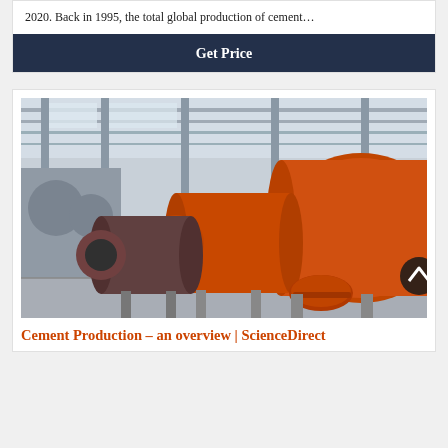2020. Back in 1995, the total global production of cement…
Get Price
[Figure (photo): Industrial cement ball mill machinery in orange color inside a large factory/industrial hall with steel structure roof. Multiple ball mill units visible lined up.]
Cement Production – an overview | ScienceDirect